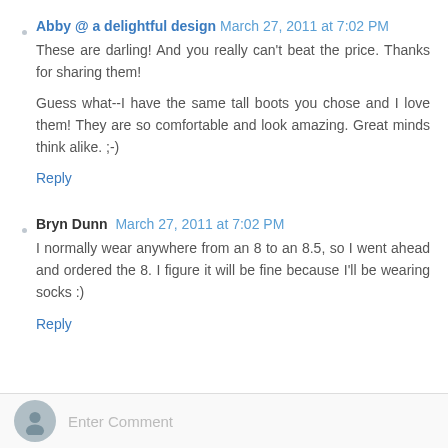Abby @ a delightful design March 27, 2011 at 7:02 PM
These are darling! And you really can't beat the price. Thanks for sharing them!

Guess what--I have the same tall boots you chose and I love them! They are so comfortable and look amazing. Great minds think alike. ;-)
Reply
Bryn Dunn March 27, 2011 at 7:02 PM
I normally wear anywhere from an 8 to an 8.5, so I went ahead and ordered the 8. I figure it will be fine because I'll be wearing socks :)
Reply
Enter Comment